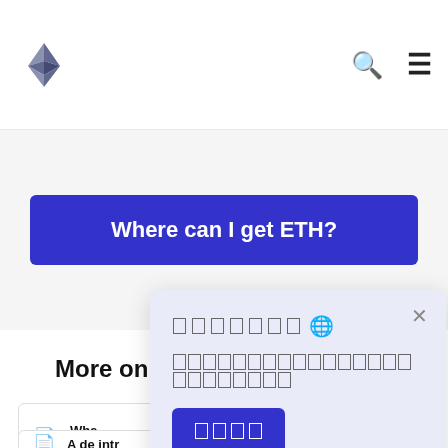Ethereum website header with logo, search icon, and menu icon
Where can I get ETH?
More on Ethereum basics
Wha... cont...
A de... intr...
[Figure (screenshot): A modal dialog with a globe emoji, unrendered text (boxes), and a blue button with unrendered text]
× close button